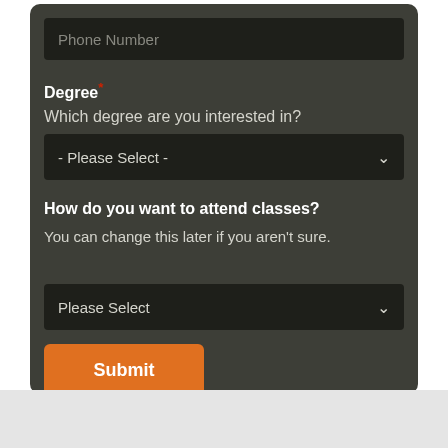Phone Number
Degree *
Which degree are you interested in?
- Please Select -
How do you want to attend classes?
You can change this later if you aren't sure.
Please Select
Submit